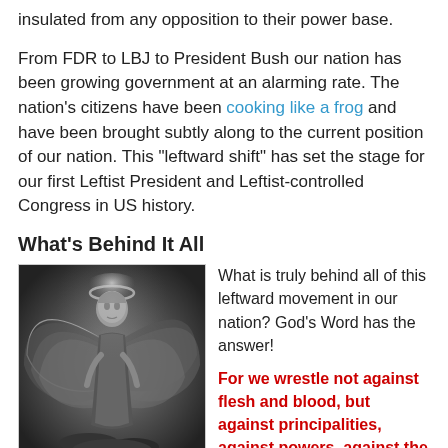insulated from any opposition to their power base.
From FDR to LBJ to President Bush our nation has been growing government at an alarming rate. The nation’s citizens have been cooking like a frog and have been brought subtly along to the current position of our nation. This “leftward shift” has set the stage for our first Leftist President and Leftist-controlled Congress in US history.
What’s Behind It All
[Figure (illustration): Black and white illustration of an angel figure with large wings and a halo, looking upward, standing on rocks]
What is truly behind all of this leftward movement in our nation? God’s Word has the answer!
For we wrestle not against flesh and blood, but against principalities, against powers, against the rulers of the darkness of this world, against spiritual wickedness
in high places (Eph 6:12).